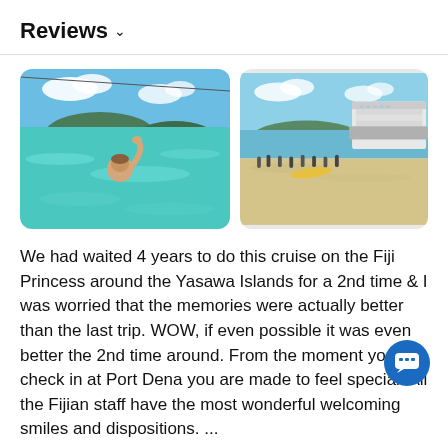Reviews ∨
[Figure (photo): Two travel photos side by side: left photo shows a person swimming in clear turquoise water with islands and a cable/rope visible in the background; right photo shows a beach scene with a large cruise ship anchored offshore, people on the sand, and tropical islands in the background.]
We had waited 4 years to do this cruise on the Fiji Princess around the Yasawa Islands for a 2nd time & I was worried that the memories were actually better than the last trip. WOW, if even possible it was even better the 2nd time around. From the moment you check in at Port Dena you are made to feel special. All the Fijian staff have the most wonderful welcoming smiles and dispositions. ...
Read More